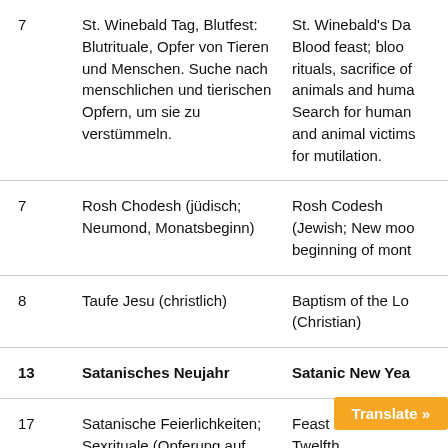|  | Deutsch | English |
| --- | --- | --- |
| 7 | St. Winebald Tag, Blutfest: Blutrituale, Opfer von Tieren und Menschen. Suche nach menschlichen und tierischen Opfern, um sie zu verstümmeln. | St. Winebald's Day Blood feast; blood rituals, sacrifice of animals and humans. Search for human and animal victims for mutilation. |
| 7 | Rosh Chodesh (jüdisch; Neumond, Monatsbeginn) | Rosh Codesh (Jewish; New moon, beginning of month) |
| 8 | Taufe Jesu (christlich) | Baptism of the Lord (Christian) |
| 13 | Satanisches Neujahr | Satanic New Year |
| 17 | Satanische Feierlichkeiten; Sexrituale (Opferung auf dem Altar) | Feast of Fools/Old Twelfth Night/Satanic and |